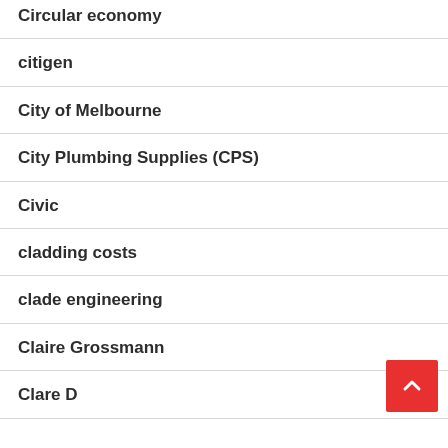Circular economy
citigen
City of Melbourne
City Plumbing Supplies (CPS)
Civic
cladding costs
clade engineering
Claire Grossmann
Clare D...